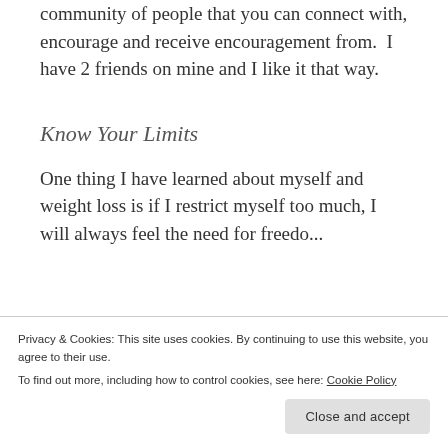community of people that you can connect with, encourage and receive encouragement from.  I have 2 friends on mine and I like it that way.
Know Your Limits
One thing I have learned about myself and weight loss is if I restrict myself too much, I will always feel the need for freedom...
Privacy & Cookies: This site uses cookies. By continuing to use this website, you agree to their use.
To find out more, including how to control cookies, see here: Cookie Policy
Close and accept